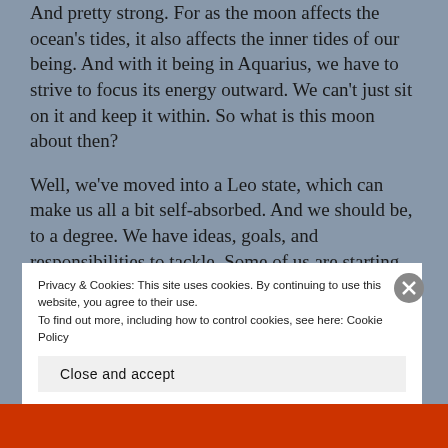And pretty strong. For as the moon affects the ocean's tides, it also affects the inner tides of our being. And with it being in Aquarius, we have to strive to focus its energy outward. We can't just sit on it and keep it within. So what is this moon about then?
Well, we've moved into a Leo state, which can make us all a bit self-absorbed. And we should be, to a degree. We have ideas, goals, and responsibilities to tackle. Some of us are starting new chapters in various areas of our lives while others of us are closing the door on outdated ways
Privacy & Cookies: This site uses cookies. By continuing to use this website, you agree to their use.
To find out more, including how to control cookies, see here: Cookie Policy
Close and accept